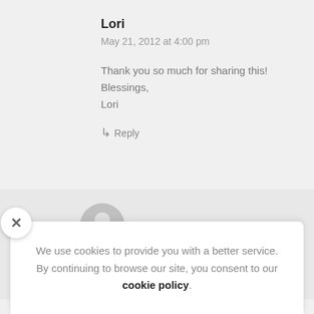Lori
May 21, 2012 at 4:00 pm
Thank you so much for sharing this! Blessings, Lori
↳ Reply
[Figure (illustration): Gray circular avatar placeholder icon with user silhouette]
Tia
May 22, 2012 at 4:26 pm
We use cookies to provide you with a better service. By continuing to browse our site, you consent to our cookie policy.